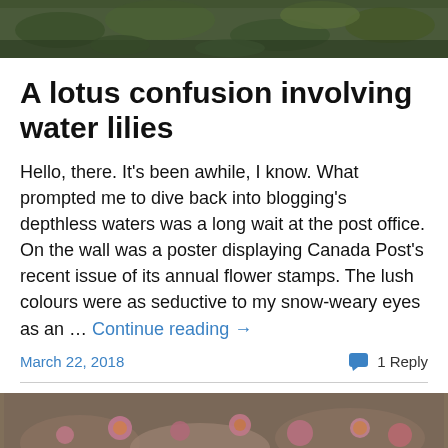[Figure (photo): Top portion of a photo showing water lilies and lily pads on a dark pond surface]
A lotus confusion involving water lilies
Hello, there. It's been awhile, I know. What prompted me to dive back into blogging's depthless waters was a long wait at the post office. On the wall was a poster displaying Canada Post's recent issue of its annual flower stamps. The lush colours were as seductive to my snow-weary eyes as an … Continue reading →
March 22, 2018   1 Reply
[Figure (photo): Bottom photo showing garden with purple coneflowers (echinacea) and other flowering plants]